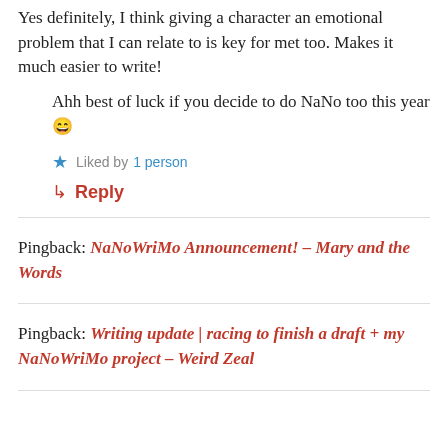Yes definitely, I think giving a character an emotional problem that I can relate to is key for met too. Makes it much easier to write!
Ahh best of luck if you decide to do NaNo too this year 😄
★ Liked by 1 person
↳ Reply
Pingback: NaNoWriMo Announcement! – Mary and the Words
Pingback: Writing update | racing to finish a draft + my NaNoWriMo project – Weird Zeal